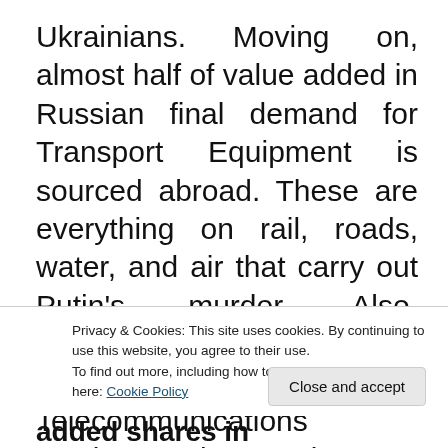Ukrainians. Moving on, almost half of value added in Russian final demand for Transport Equipment is sourced abroad. These are everything on rail, roads, water, and air that carry out Putin's murder. Also, services industries are needed to kill Ukrainians. Telecommunications services and IT services are included in the aggregate Information
Privacy & Cookies: This site uses cookies. By continuing to use this website, you agree to their use.
To find out more, including how to control cookies, see here: Cookie Policy
Figure 1: Foreign value added shares in